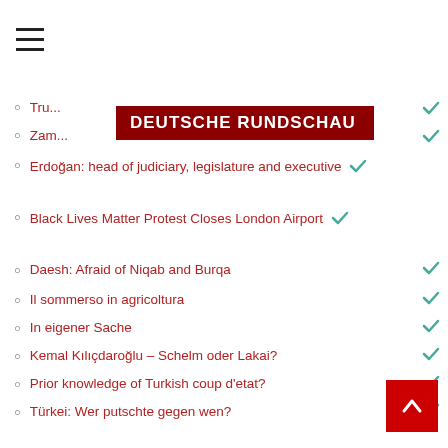[Figure (other): Hamburger menu icon (three horizontal lines)]
DEUTSCHE RUNDSCHAU
Tru... [truncated]
Zam... [truncated]
Erdoğan: head of judiciary, legislature and executive
Black Lives Matter Protest Closes London Airport
Daesh: Afraid of Niqab and Burqa
Il sommerso in agricoltura
In eigener Sache
Kemal Kılıçdaroğlu – Schelm oder Lakai?
Prior knowledge of Turkish coup d'etat?
Türkei: Wer putschte gegen wen?
Dove va la Turchia di Erdogan?
PR firms vs good journalism
Türkei erhebt Anspruch auf irakisches Land